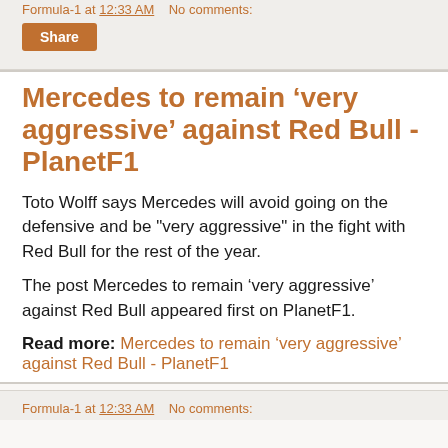Formula-1 at 12:33 AM    No comments:
Mercedes to remain ‘very aggressive’ against Red Bull - PlanetF1
Toto Wolff says Mercedes will avoid going on the defensive and be "very aggressive" in the fight with Red Bull for the rest of the year.
The post Mercedes to remain ‘very aggressive’ against Red Bull appeared first on PlanetF1.
Read more: Mercedes to remain ‘very aggressive’ against Red Bull - PlanetF1
Formula-1 at 12:33 AM    No comments: